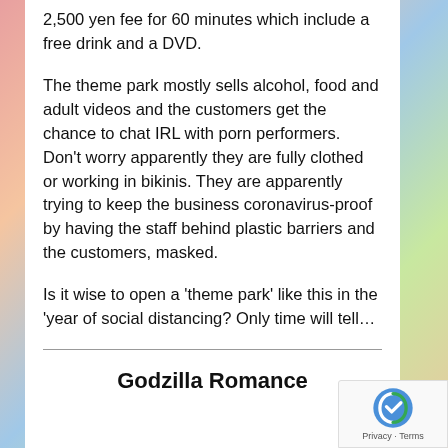2,500 yen fee for 60 minutes which include a free drink and a DVD.
The theme park mostly sells alcohol, food and adult videos and the customers get the chance to chat IRL with porn performers. Don't worry apparently they are fully clothed or working in bikinis. They are apparently trying to keep the business coronavirus-proof by having the staff behind plastic barriers and the customers, masked.
Is it wise to open a 'theme park' like this in the 'year of social distancing? Only time will tell…
Godzilla Romance